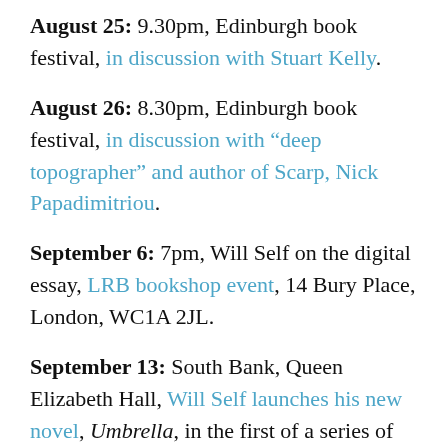August 25: 9.30pm, Edinburgh book festival, in discussion with Stuart Kelly.
August 26: 8.30pm, Edinburgh book festival, in discussion with "deep topographer" and author of Scarp, Nick Papadimitriou.
September 6: 7pm, Will Self on the digital essay, LRB bookshop event, 14 Bury Place, London, WC1A 2JL.
September 13: South Bank, Queen Elizabeth Hall, Will Self launches his new novel, Umbrella, in the first of a series of events curated by him exploring the legacy and provocation of modernism upon writing